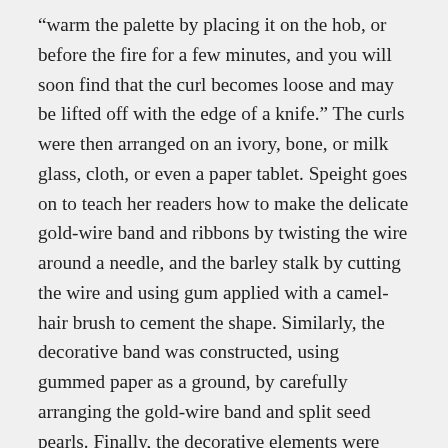“warm the palette by placing it on the hob, or before the fire for a few minutes, and you will soon find that the curl becomes loose and may be lifted off with the edge of a knife.” The curls were then arranged on an ivory, bone, or milk glass, cloth, or even a paper tablet. Speight goes on to teach her readers how to make the delicate gold-wire band and ribbons by twisting the wire around a needle, and the barley stalk by cutting the wire and using gum applied with a camel-hair brush to cement the shape. Similarly, the decorative band was constructed, using gummed paper as a ground, by carefully arranging the gold-wire band and split seed pearls. Finally, the decorative elements were carefully arranged amidst the curls. After drying, any extra gum was removed using spirits of wine.